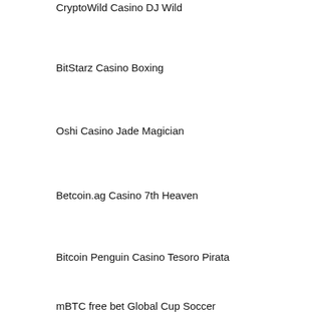CryptoWild Casino DJ Wild
BitStarz Casino Boxing
Oshi Casino Jade Magician
Betcoin.ag Casino 7th Heaven
Bitcoin Penguin Casino Tesoro Pirata
mBTC free bet Global Cup Soccer